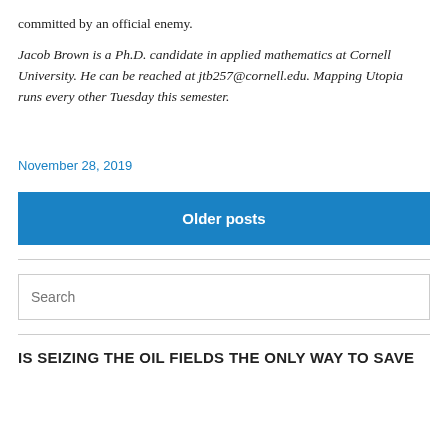committed by an official enemy.
Jacob Brown is a Ph.D. candidate in applied mathematics at Cornell University. He can be reached at jtb257@cornell.edu. Mapping Utopia runs every other Tuesday this semester.
November 28, 2019
Older posts
Search
IS SEIZING THE OIL FIELDS THE ONLY WAY TO SAVE